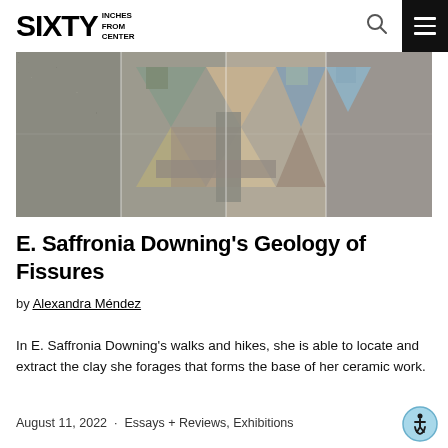SIXTY INCHES FROM CENTER
[Figure (photo): Overhead view of ceramic tile artwork with geometric triangular shapes in muted earth tones, blues, and greens arranged in a mosaic pattern on a stone/concrete surface.]
E. Saffronia Downing's Geology of Fissures
by Alexandra Méndez
In E. Saffronia Downing's walks and hikes, she is able to locate and extract the clay she forages that forms the base of her ceramic work.
August 11, 2022  ·  Essays + Reviews, Exhibitions